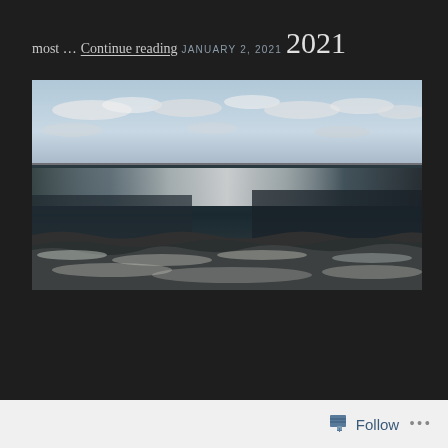most …
Continue reading
JANUARY 2, 2021
2021
[Figure (photo): Ocean scene with waves and sparkling water under a partly cloudy sky]
Follow